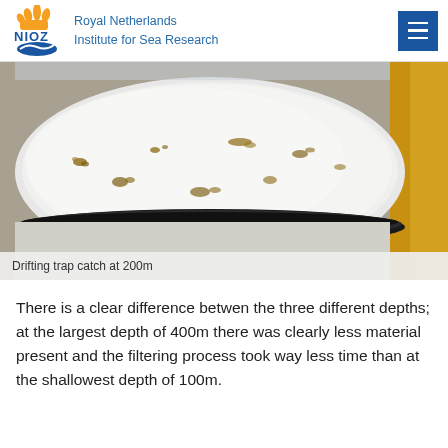Royal Netherlands Institute for Sea Research
[Figure (photo): Close-up photograph of a white cylindrical drifting trap containing caught material at 200m depth, with a black band around its middle and a yellow object visible on the right side.]
Drifting trap catch at 200m
There is a clear difference betwen the three different depths; at the largest depth of 400m there was clearly less material present and the filtering process took way less time than at the shallowest depth of 100m.